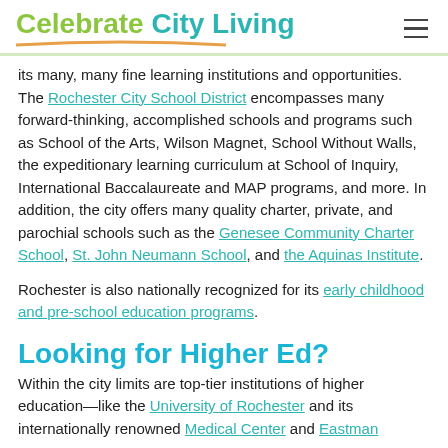Celebrate City Living
its many, many fine learning institutions and opportunities. The Rochester City School District encompasses many forward-thinking, accomplished schools and programs such as School of the Arts, Wilson Magnet, School Without Walls, the expeditionary learning curriculum at School of Inquiry, International Baccalaureate and MAP programs, and more. In addition, the city offers many quality charter, private, and parochial schools such as the Genesee Community Charter School, St. John Neumann School, and the Aquinas Institute.
Rochester is also nationally recognized for its early childhood and pre-school education programs.
Looking for Higher Ed?
Within the city limits are top-tier institutions of higher education—like the University of Rochester and its internationally renowned Medical Center and Eastman